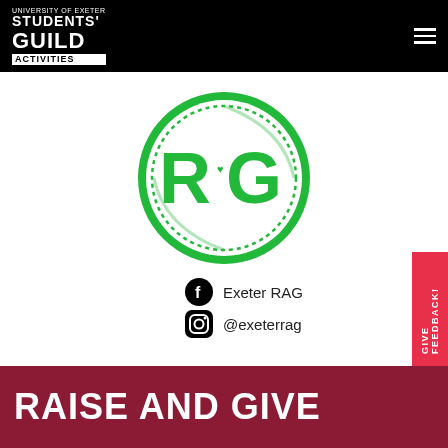University of Exeter Students' Guild Activities
[Figure (logo): RAG (Raise and Give) circular logo with green ring, dotted inner circle, and large green 'RG' letters with a small heart in the center]
Exeter RAG
@exeterrag
RAISE AND GIVE